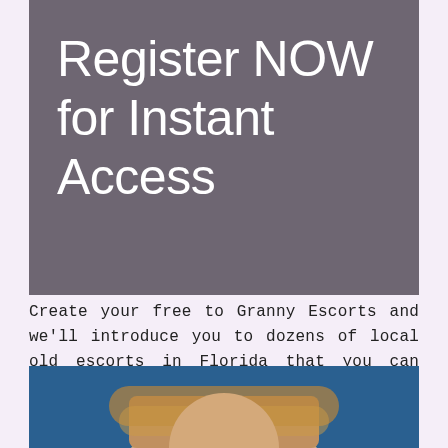Register NOW for Instant Access
Create your free to Granny Escorts and we'll introduce you to dozens of local old escorts in Florida that you can browse, chat and message in just a few clicks. Old Florida Escorts.
[Figure (photo): Partial photo of a person visible at the bottom of the page, blue background]